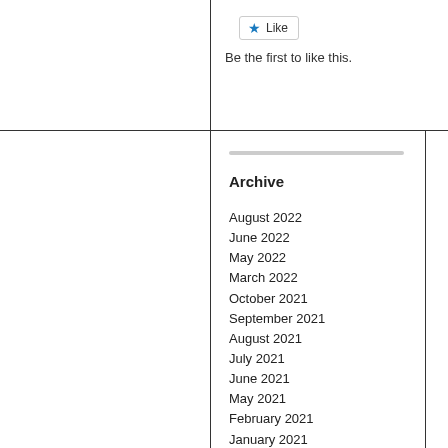[Figure (screenshot): Like button UI element with star icon]
Be the first to like this.
Archive
August 2022
June 2022
May 2022
March 2022
October 2021
September 2021
August 2021
July 2021
June 2021
May 2021
February 2021
January 2021
December 2020
November 2020
October 2020
September 2020
August 2020